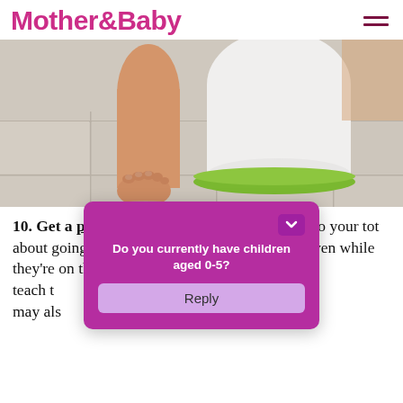Mother&Baby
[Figure (photo): Close-up photo of a baby's bare foot stepping on a light-colored tile floor next to a white potty with a green base]
10. Get a potty training book: reading a story to your tot about going to the toilet in your spare time, or even while they're on the p[otty], can teach t[hem that the potty is an important place]. It may als[o help them understand...]